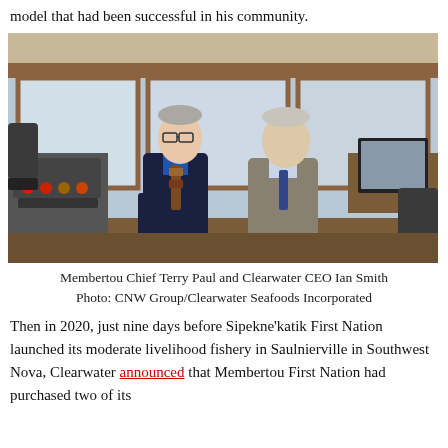model that had been successful in his community.
[Figure (photo): Two men standing and talking on the bridge of a ship. One man on the left wearing glasses, a blue shirt and patterned tie, another man on the right in a grey suit with a blue tie. Ship control panels visible on the left, windows and a monitor visible in the background.]
Membertou Chief Terry Paul and Clearwater CEO Ian Smith
Photo: CNW Group/Clearwater Seafoods Incorporated
Then in 2020, just nine days before Sipekne'katik First Nation launched its moderate livelihood fishery in Saulnierville in Southwest Nova, Clearwater announced that Membertou First Nation had purchased two of its